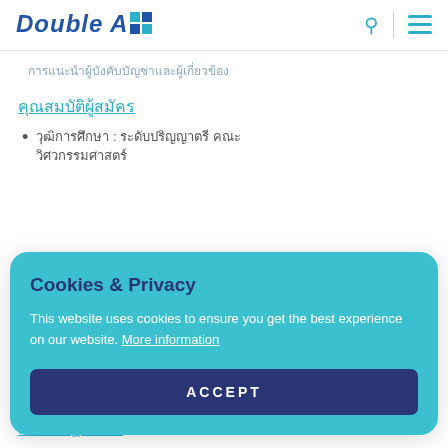Double A
การแนะนำผู้บังคับบัญชาและผู้เกี่ยวข้อง
คุณสมบัติผู้สมัคร
วุฒิการศึกษา : ระดับปริญญาตรี คณะวิศวกรรมศาสตร์
[Figure (other): Cookies & Privacy modal overlay with teal background, title 'Cookies & Privacy', body text about cookie usage with 'More information' link, and dark blue ACCEPT button]
สถานที่ปฏิบัติงาน